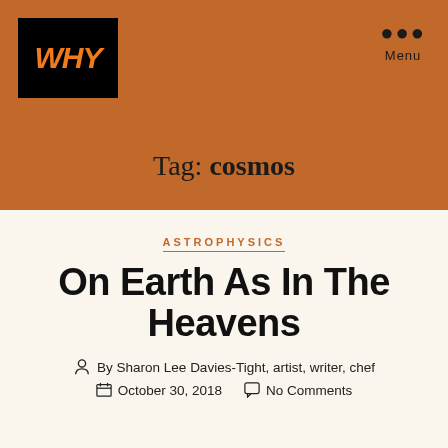[Figure (logo): WHY logo — white hand-drawn text on black background, orange color]
Menu
Tag: cosmos
ASTROPHYSICS
On Earth As In The Heavens
By Sharon Lee Davies-Tight, artist, writer, chef
October 30, 2018   No Comments